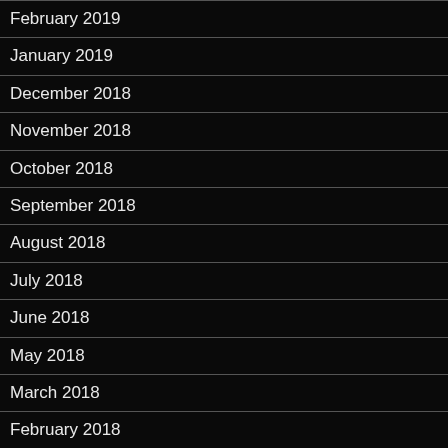February 2019
January 2019
December 2018
November 2018
October 2018
September 2018
August 2018
July 2018
June 2018
May 2018
March 2018
February 2018
January 2018